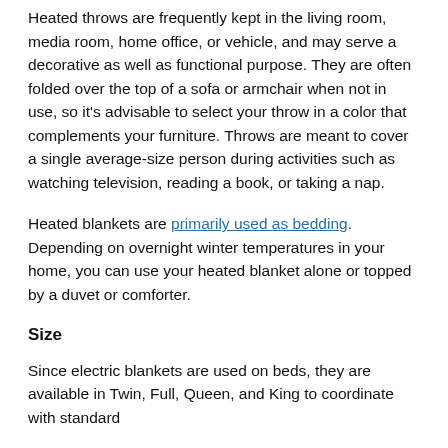Heated throws are frequently kept in the living room, media room, home office, or vehicle, and may serve a decorative as well as functional purpose. They are often folded over the top of a sofa or armchair when not in use, so it's advisable to select your throw in a color that complements your furniture. Throws are meant to cover a single average-size person during activities such as watching television, reading a book, or taking a nap.
Heated blankets are primarily used as bedding. Depending on overnight winter temperatures in your home, you can use your heated blanket alone or topped by a duvet or comforter.
Size
Since electric blankets are used on beds, they are available in Twin, Full, Queen, and King to coordinate with standard mattress sizes. Heated throws on the other hand are not...